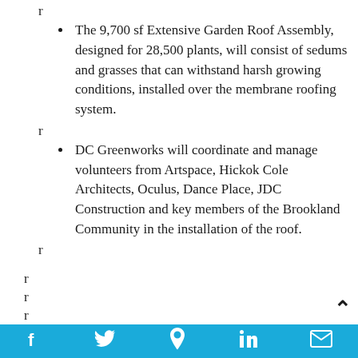r
The 9,700 sf Extensive Garden Roof Assembly, designed for 28,500 plants, will consist of sedums and grasses that can withstand harsh growing conditions, installed over the membrane roofing system.
r
DC Greenworks will coordinate and manage volunteers from Artspace, Hickok Cole Architects, Oculus, Dance Place, JDC Construction and key members of the Brookland Community in the installation of the roof.
r
r
r
r
f  t  p  in  mail